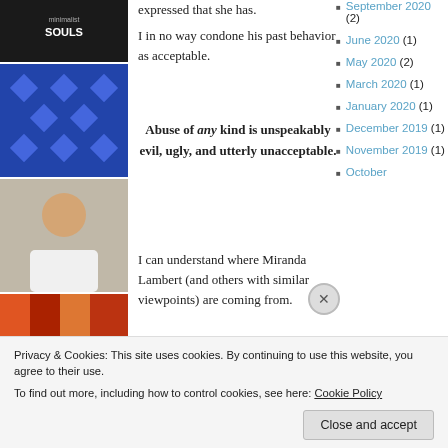[Figure (illustration): Left sidebar with multiple avatar/profile images stacked vertically: minimalist souls logo, blue quilt pattern, male portrait photo, colorful crowd photo, green quilt/star pattern, cartoon girl illustration, black logo image]
expressed that she has.
I in no way condone his past behavior as acceptable.
Abuse of any kind is unspeakably evil, ugly, and utterly unacceptable.
I can understand where Miranda Lambert (and others with similar viewpoints) are coming from.
I believe that the Atonement of Jesus Christ can redeem even people who
September 2020 (2)
June 2020 (1)
May 2020 (2)
March 2020 (1)
January 2020 (1)
December 2019 (1)
November 2019 (1)
October
Privacy & Cookies: This site uses cookies. By continuing to use this website, you agree to their use.
To find out more, including how to control cookies, see here: Cookie Policy
Close and accept